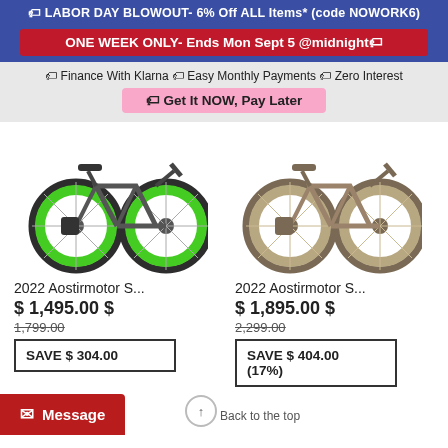🏷 LABOR DAY BLOWOUT- 6% Off ALL Items* (code NOWORK6)
ONE WEEK ONLY- Ends Mon Sept 5 @midnight🏷
🏷 Finance With Klarna 🏷 Easy Monthly Payments 🏷 Zero Interest
🏷 Get It NOW, Pay Later
[Figure (photo): 2022 Aostirmotor electric fat tire bike with green wheels, gray frame]
[Figure (photo): 2022 Aostirmotor electric fat tire bike with tan/beige wheels and frame]
2022 Aostirmotor S...
$ 1,495.00 $
1,799.00
SAVE $ 304.00
2022 Aostirmotor S...
$ 1,895.00 $
2,299.00
SAVE $ 404.00
(17%)
Back to the top
Message